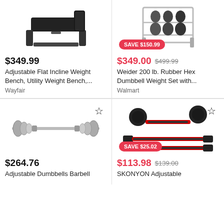[Figure (photo): Adjustable flat incline weight bench product image]
$349.99
Adjustable Flat Incline Weight Bench, Utility Weight Bench,...
Wayfair
[Figure (photo): Weider 200 lb rubber hex dumbbell weight set with rack, SAVE $150.99 badge]
$349.00  $499.99
Weider 200 lb. Rubber Hex Dumbbell Weight Set with...
Walmart
[Figure (photo): Adjustable dumbbells barbell chrome product image with star bookmark]
$264.76
Adjustable Dumbbells Barbell
[Figure (photo): SKONYON adjustable dumbbell set with barbell connection, SAVE $25.02 badge, star bookmark]
$113.98  $139.00
SKONYON Adjustable